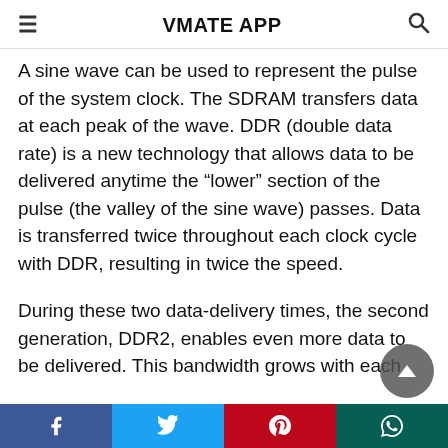VMATE APP
A sine wave can be used to represent the pulse of the system clock. The SDRAM transfers data at each peak of the wave. DDR (double data rate) is a new technology that allows data to be delivered anytime the “lower” section of the pulse (the valley of the sine wave) passes. Data is transferred twice throughout each clock cycle with DDR, resulting in twice the speed.
During these two data-delivery times, the second generation, DDR2, enables even more data to be delivered. This bandwidth grows with each
Facebook Twitter Pinterest WhatsApp